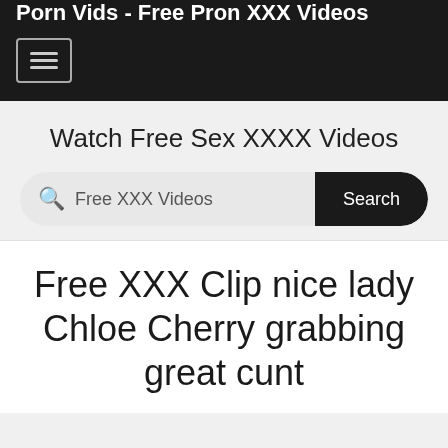Porn Vids - Free Pron XXX Videos
Watch Free Sex XXXX Videos
Free XXX Videos [search bar with Search button]
Free XXX Clip nice lady Chloe Cherry grabbing great cunt